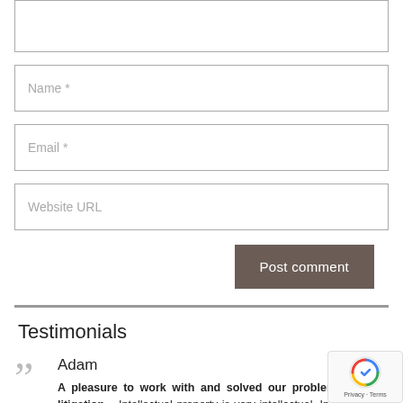Comment textarea (top, partially visible)
Name *
Email *
Website URL
Post comment
Testimonials
Adam
A pleasure to work with and solved our problems without litigation – Intellectual property is very intellectual. In more ways than one. Mr. Hiller has been 100% successful for my company's needs an